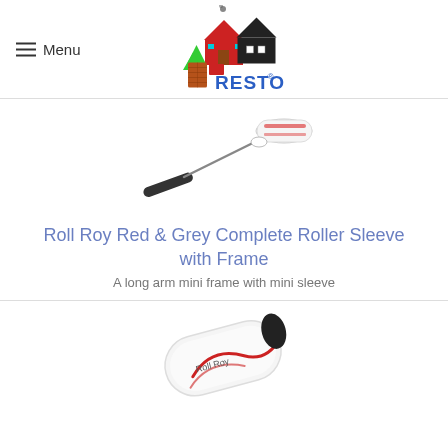Menu — RESTO logo
[Figure (photo): Paint roller with long arm mini frame and mini sleeve — Roll Roy Red and Grey complete roller]
Roll Roy Red & Grey Complete Roller Sleeve with Frame
A long arm mini frame with mini sleeve
[Figure (photo): Close-up of white and red mini paint roller sleeve]